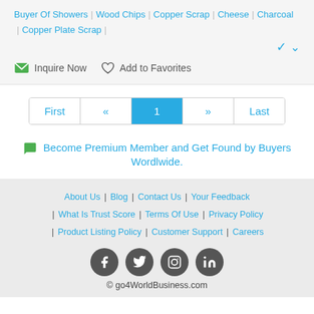Buyer Of Showers | Wood Chips | Copper Scrap | Cheese | Charcoal | Copper Plate Scrap
Inquire Now   Add to Favorites
First « 1 » Last
Become Premium Member and Get Found by Buyers Wordlwide.
About Us | Blog | Contact Us | Your Feedback | What Is Trust Score | Terms Of Use | Privacy Policy | Product Listing Policy | Customer Support | Careers
© go4WorldBusiness.com